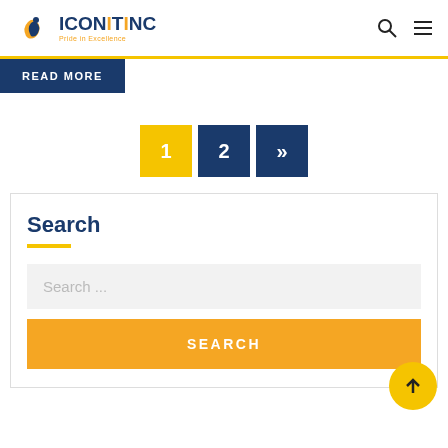ICONITINC - Pride in Excellence
READ MORE
1  2  »
Search
Search ...
SEARCH